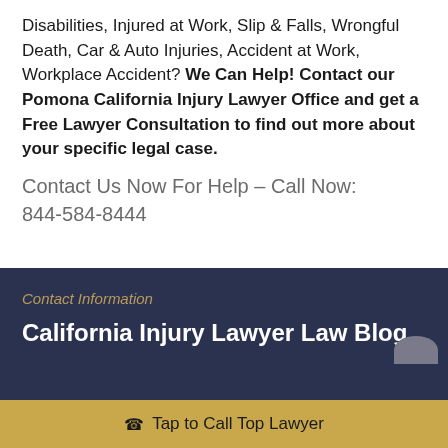Disabilities, Injured at Work, Slip & Falls, Wrongful Death, Car & Auto Injuries, Accident at Work, Workplace Accident? We Can Help! Contact our Pomona California Injury Lawyer Office and get a Free Lawyer Consultation to find out more about your specific legal case.
Contact Us Now For Help – Call Now: 844-584-8444
Contact Information
California Injury Lawyer Law Blog
Tap to Call Top Lawyer